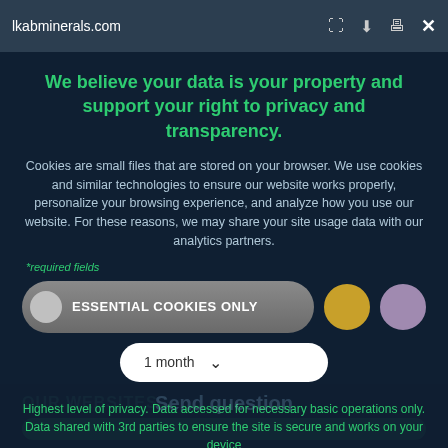lkabminerals.com
We believe your data is your property and support your right to privacy and transparency.
Cookies are small files that are stored on your browser. We use cookies and similar technologies to ensure our website works properly, personalize your browsing experience, and analyze how you use our website. For these reasons, we may share your site usage data with our analytics partners.
*required fields
ESSENTIAL COOKIES ONLY
1 month
Send question
Highest level of privacy. Data accessed for necessary basic operations only. Data shared with 3rd parties to ensure the site is secure and works on your device
OUR WEBSITES